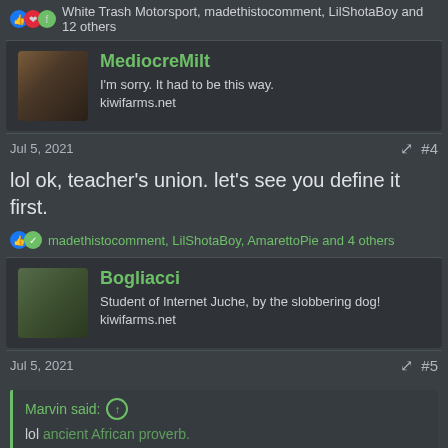White Trash Motorsport, madethistocomment, LilShotaBoy and 12 others
MediocreMilt
I'm sorry. It had to be this way.
kiwifarms.net
Jul 5, 2021  #4
lol ok, teacher's union. let's see you define it first.
madethistocomment, LilShotaBoy, AmarettoPie and 4 others
Bogliacci
Student of Internet Juche, by the slobbering dog!
kiwifarms.net
Jul 5, 2021  #5
Marvin said: ↑
lol ancient African proverb.
Wow, and they're the ones who are supposed to teach kids?